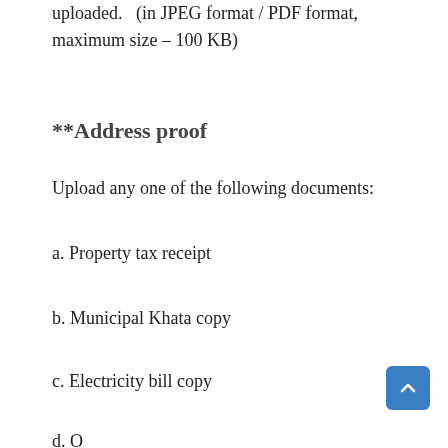uploaded.  (in JPEG format / PDF format, maximum size – 100 KB)
**Address proof
Upload any one of the following documents:
a. Property tax receipt
b. Municipal Khata copy
c. Electricity bill copy
d. Once hired/document (in the case of